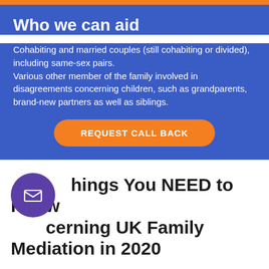Who we can aid
Cohabiting and married couples (still cohabiting or divided), including same-sex pairs. Various other member of the family involved in disagreements concerning children, such as grandparents, brand-new partners as well as siblings.
REQUEST CALL BACK
6 Things You NEED to Know Concerning UK Family Mediation in 2020